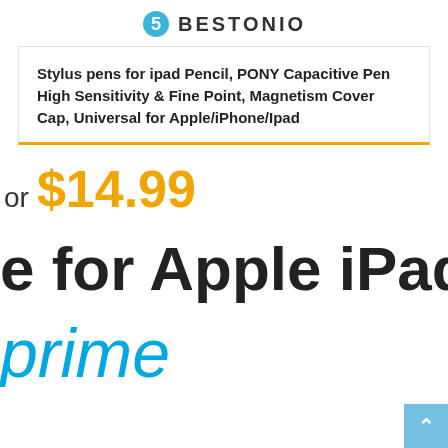BESTONIO
Stylus pens for ipad Pencil, PONY Capacitive Pen High Sensitivity & Fine Point, Magnetism Cover Cap, Universal for Apple/iPhone/Ipad
or $14.99
e for Apple iPad, A
prime